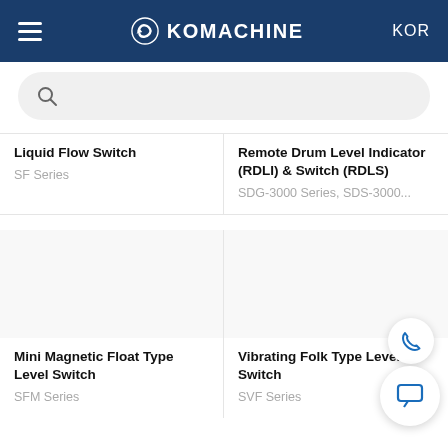KOMACHINE KOR
[Figure (screenshot): Search bar with magnifying glass icon on light grey rounded background]
Liquid Flow Switch
SF Series
Remote Drum Level Indicator (RDLI) & Switch (RDLS)
SDG-3000 Series, SDS-3000...
[Figure (photo): Mini Magnetic Float Type Level Switch product image placeholder]
[Figure (photo): Vibrating Folk Type Level Switch product image placeholder]
Mini Magnetic Float Type Level Switch
SFM Series
Vibrating Folk Type Level Switch
SVF Series